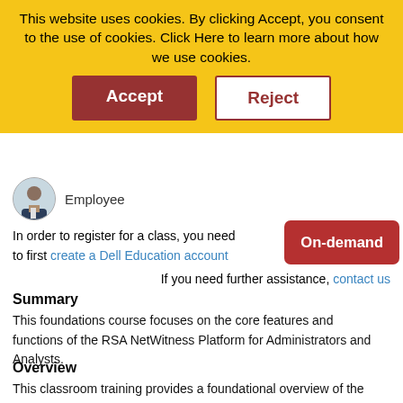This website uses cookies. By clicking Accept, you consent to the use of cookies. Click Here to learn more about how we use cookies.
[Figure (screenshot): Cookie consent banner with Accept and Reject buttons on yellow background]
[Figure (photo): Employee avatar photo - person in suit]
Employee
In order to register for a class, you need to first create a Dell Education account
[Figure (other): On-demand button (dark red rounded rectangle)]
If you need further assistance, contact us
Summary
This foundations course focuses on the core features and functions of the RSA NetWitness Platform for Administrators and Analysts.
Overview
This classroom training provides a foundational overview of the core components of RSA NetWitness Platform. Students gain insight into the core concepts, uses, functions and features and also gain practical experience by performing a series of hands-on labs.